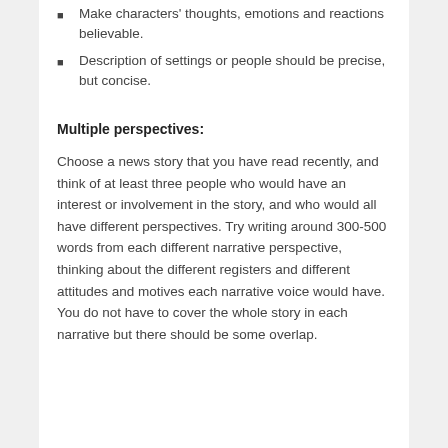Make characters' thoughts, emotions and reactions believable.
Description of settings or people should be precise, but concise.
Multiple perspectives:
Choose a news story that you have read recently, and think of at least three people who would have an interest or involvement in the story, and who would all have different perspectives. Try writing around 300-500 words from each different narrative perspective, thinking about the different registers and different attitudes and motives each narrative voice would have. You do not have to cover the whole story in each narrative but there should be some overlap.